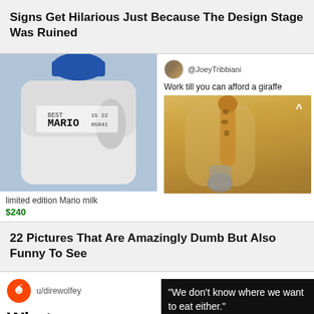Signs Get Hilarious Just Because The Design Stage Was Ruined
[Figure (photo): A white milk jug with blue cap, label showing 'BEST BY MARIO' with date codes 15 22 05041]
limited edition Mario milk
$240
[Figure (screenshot): Tweet by @JoeyTribbiani saying 'Work till you can afford a giraffe' with a photo of a giraffe inside a house next to a person]
22 Pictures That Are Amazingly Dumb But Also Funny To See
[Figure (screenshot): Reddit post by u/direwolfey titled 'What as a' alongside a dark image with white text reading 'We don't know where we want to eat either.']